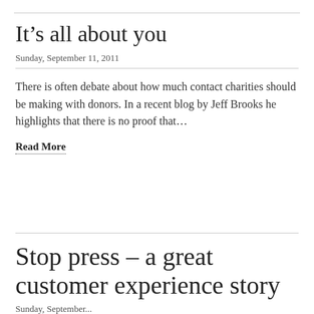It’s all about you
Sunday, September 11, 2011
There is often debate about how much contact charities should be making with donors. In a recent blog by Jeff Brooks he highlights that there is no proof that…
Read More
Stop press – a great customer experience story
Sunday, September...